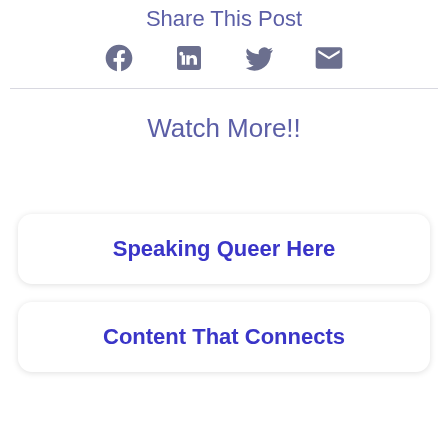Share This Post
[Figure (infographic): Social sharing icons: Facebook, LinkedIn, Twitter, Email]
Watch More!!
Speaking Queer Here
Content That Connects